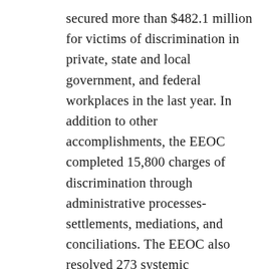secured more than $482.1 million for victims of discrimination in private, state and local government, and federal workplaces in the last year. In addition to other accomplishments, the EEOC completed 15,800 charges of discrimination through administrative processes-settlements, mediations, and conciliations. The EEOC also resolved 273 systemic investigations before filing litigation, obtaining more than $20.3 million in remedies. Through litigation, the EEOC resolved 21 systemic cases, six of which included at least 50 victims of discrimination and two of which included over 1,000 victims